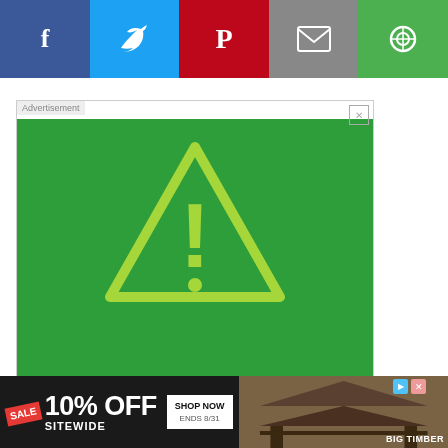[Figure (screenshot): Social media share bar with Facebook (blue), Twitter (light blue), Pinterest (red), Email (gray), and a green share button]
[Figure (screenshot): Sandy Hook Promise advertisement on green background showing a warning triangle with exclamation mark and text 'Gun violence is preventable when you know the signs.' with a Learn More button]
[Figure (screenshot): Bottom banner advertisement: SALE 10% OFF SITEWIDE with SHOP NOW ENDS 8/31 and BIG TIMBER branding over a gazebo image]
roll to on